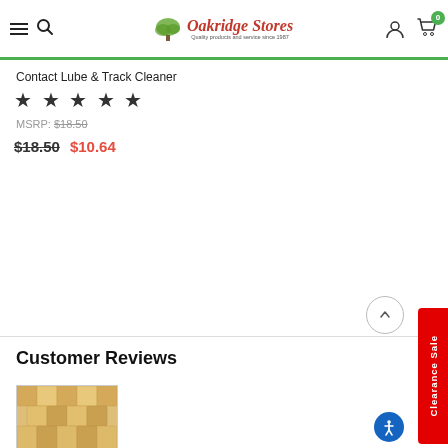[Figure (screenshot): Oakridge Stores website header with hamburger menu, search icon, logo with tree graphic, user account icon, and shopping cart with badge showing 0]
Contact Lube & Track Cleaner
★★★★★
MSRP: $18.50
$18.50  $10.64
Customer Reviews
[Figure (photo): Thumbnail photo of wood shingle/tile product]